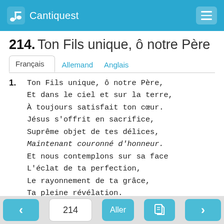Cantiquest
214. Ton Fils unique, ô notre Père
Tabs: Français | Allemand | Anglais
1. Ton Fils unique, ô notre Père,
Et dans le ciel et sur la terre,
À toujours satisfait ton cœur.
Jésus s'offrit en sacrifice,
Suprême objet de tes délices,
Maintenant couronné d'honneur.
Et nous contemplons sur sa face
L'éclat de ta perfection,
Le rayonnement de ta grâce,
Ta pleine révélation.
< 214 Aller [icon] >